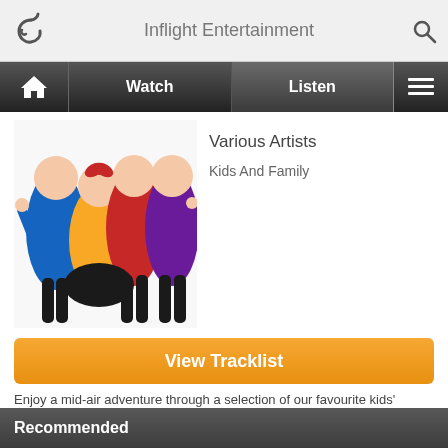Inflight Entertainment
Various Artists
Kids And Family
[Figure (photo): Four members of The Wiggles posing with thumbs up, wearing blue, yellow, red, and purple shirts]
View Tracklist
Enjoy a mid-air adventure through a selection of our favourite kids' music.
Rating: PG
Genre: Radio Show
Recommended